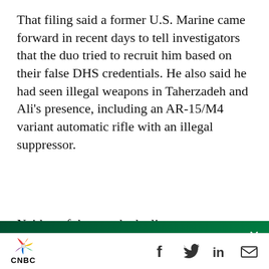That filing said a former U.S. Marine came forward in recent days to tell investigators that the duo tried to recruit him based on their false DHS credentials. He also said he had seen illegal weapons in Taherzadeh and Ali’s presence, including an AR-15/M4 variant automatic rifle with an illegal suppressor.
Neither of the men had a license to carry a
[Figure (screenshot): CNBC PRO subscription overlay banner with dark green gradient background, CNBC peacock logo, PRO badge, promotional text 'Get started today with our special offer and start hitting your financial goals.', and a white SUBSCRIBE NOW button. A close (X) button appears in the top right.]
CNBC logo on the left, social media icons (Facebook, Twitter, LinkedIn, Email) on the right